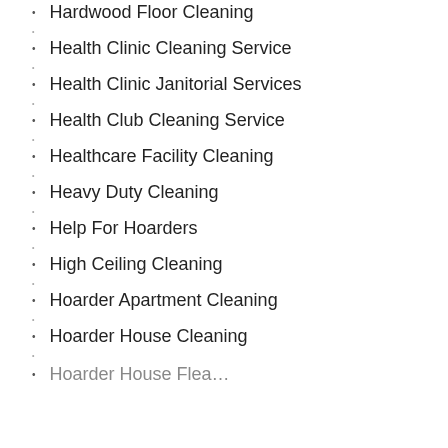Hardwood Floor Cleaning
Health Clinic Cleaning Service
Health Clinic Janitorial Services
Health Club Cleaning Service
Healthcare Facility Cleaning
Heavy Duty Cleaning
Help For Hoarders
High Ceiling Cleaning
Hoarder Apartment Cleaning
Hoarder House Cleaning
Hoarder House Flea…